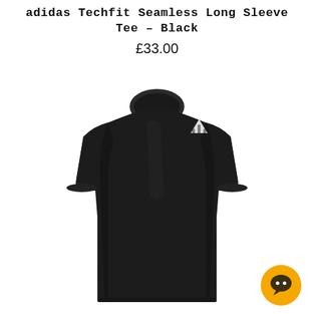adidas Techfit Seamless Long Sleeve Tee – Black
£33.00
[Figure (photo): Product photo of a black adidas Techfit Seamless Long Sleeve Tee shown as a fitted short-sleeve compression shirt on a mannequin against white background. The adidas logo in white is visible on the right shoulder.]
[Figure (other): Orange circular chat/support icon with a chat bubble symbol in dark color, positioned in bottom right corner.]